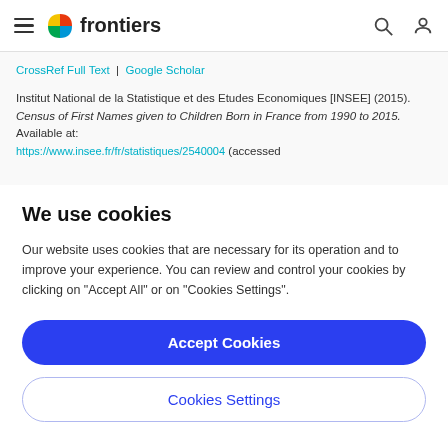frontiers
CrossRef Full Text | Google Scholar
Institut National de la Statistique et des Etudes Economiques [INSEE] (2015). Census of First Names given to Children Born in France from 1990 to 2015. Available at: https://www.insee.fr/fr/statistiques/2540004 (accessed
We use cookies
Our website uses cookies that are necessary for its operation and to improve your experience. You can review and control your cookies by clicking on "Accept All" or on "Cookies Settings".
Accept Cookies
Cookies Settings